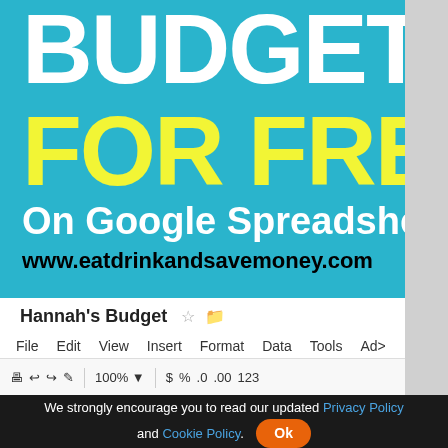[Figure (screenshot): Screenshot of a blog graphic promoting budgeting for free on Google Spreadsheets, showing the text BUDGET in large white letters, FOR FREE in yellow, On Google Spreadsheets in white, and www.eatdrinkandsavemoney.com in black on a teal background. Below is a screenshot of a Google Spreadsheet titled Hannah's Budget with a toolbar showing File, Edit, View, Insert, Format, Data, Tools, and formatting icons including 100%, $, %, .0, .00, 123.]
We strongly encourage you to read our updated Privacy Policy and Cookie Policy.
Ok